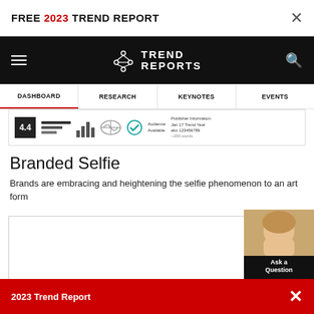FREE 2023 TREND REPORT
[Figure (logo): Trend Reports logo with molecule/network icon on black navigation bar]
DASHBOARD | RESEARCH | KEYNOTES | EVENTS
[Figure (infographic): Stats strip showing score 4.4, bar charts, map chart, globe icon, checkmark icon, and text statistics]
Branded Selfie
Brands are embracing and heightening the selfie phenomenon to an art form
[Figure (screenshot): Content card showing Crossover Celebrity trend report with subtitle 'Important figures from across the globe appear in North American culture' and body text with images below]
2023 Trend Report